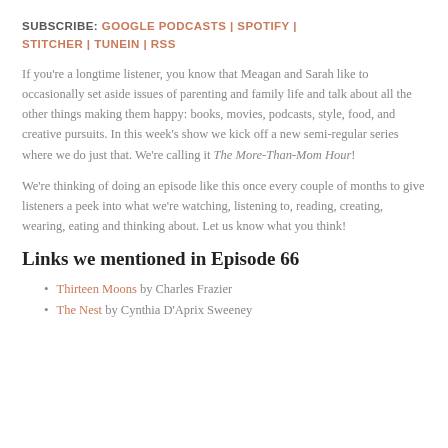SUBSCRIBE: GOOGLE PODCASTS | SPOTIFY | STITCHER | TUNEIN | RSS
If you're a longtime listener, you know that Meagan and Sarah like to occasionally set aside issues of parenting and family life and talk about all the other things making them happy: books, movies, podcasts, style, food, and creative pursuits. In this week's show we kick off a new semi-regular series where we do just that. We're calling it The More-Than-Mom Hour!
We're thinking of doing an episode like this once every couple of months to give listeners a peek into what we're watching, listening to, reading, creating, wearing, eating and thinking about. Let us know what you think!
Links we mentioned in Episode 66
Thirteen Moons by Charles Frazier
The Nest by Cynthia D'Aprix Sweeney